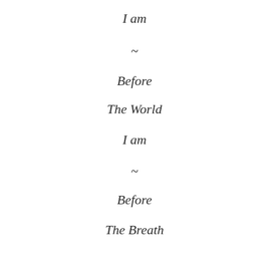I am
~
Before
The World
I am
~
Before
The Breath